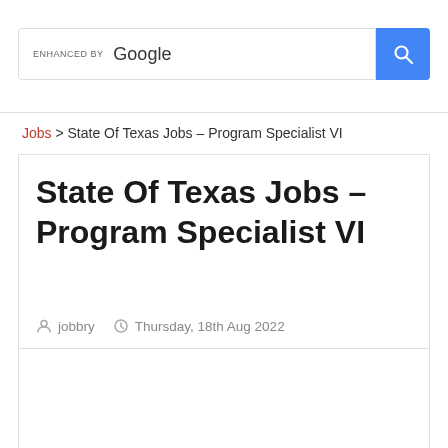[Figure (screenshot): Google search bar with 'ENHANCED BY Google' label and a blue search button with magnifying glass icon]
Jobs > State Of Texas Jobs – Program Specialist VI
State Of Texas Jobs – Program Specialist VI
jobbry   Thursday, 18th Aug 2022